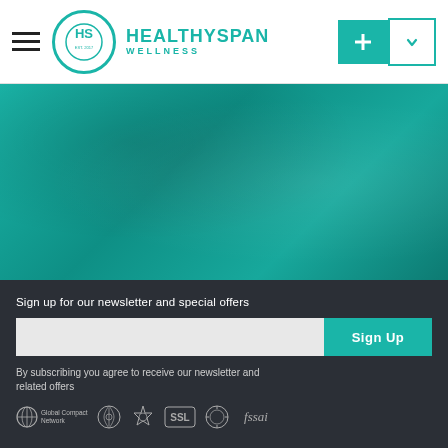[Figure (logo): HealthySpan Wellness logo with teal circular emblem and brand name]
[Figure (photo): Teal/turquoise hero banner image with gradient background]
Sign up for our newsletter and special offers
Sign Up
By subscribing you agree to receive our newsletter and related offers
[Figure (infographic): Trust badges row: Global Compact Network, NMCE, SSL certification, FSSAI and other certification logos]